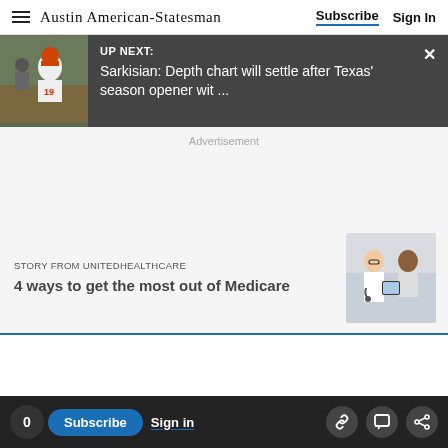Austin American-Statesman | Subscribe | Sign In
[Figure (screenshot): UP NEXT banner with football player wearing #19 jersey and Sarkisian headline: 'Sarkisian: Depth chart will settle after Texas' season opener wit ...']
Advertisement
STORY FROM UNITEDHEALTHCARE
4 ways to get the most out of Medicare
0 | Subscribe | Sign in